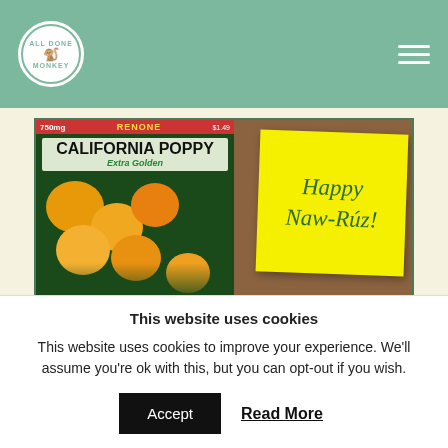All Done Monkey [logo] [hamburger menu]
[Figure (photo): A California Poppy Extra Golden seed packet (750mg, Renone brand) next to a yellow sticky note that reads 'Happy Naw-Rúz!' on a dark wooden surface. Watermark: Alldonemonkey.com]
It is such a beautiful quote and was right in keeping with the “garden” theme of our favors.
This website uses cookies
This website uses cookies to improve your experience. We’ll assume you’re ok with this, but you can opt-out if you wish.
Accept   Read More